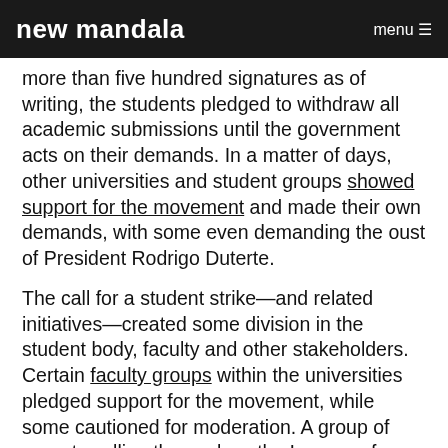new mandala | menu
more than five hundred signatures as of writing, the students pledged to withdraw all academic submissions until the government acts on their demands. In a matter of days, other universities and student groups showed support for the movement and made their own demands, with some even demanding the oust of President Rodrigo Duterte.
The call for a student strike—and related initiatives—created some division in the student body, faculty and other stakeholders. Certain faculty groups within the universities pledged support for the movement, while some cautioned for moderation. A group of parents calling themselves the League of Parents of the